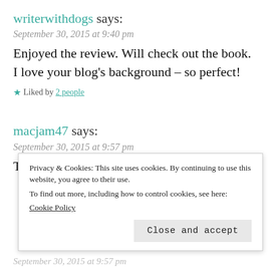writerwithdogs says:
September 30, 2015 at 9:40 pm
Enjoyed the review. Will check out the book. I love your blog's background – so perfect!
★ Liked by 2 people
macjam47 says:
September 30, 2015 at 9:57 pm
Thanks so much. Hope you enjoy the book.
Privacy & Cookies: This site uses cookies. By continuing to use this website, you agree to their use. To find out more, including how to control cookies, see here: Cookie Policy
Close and accept
September 30, 2015 at 9:57 pm